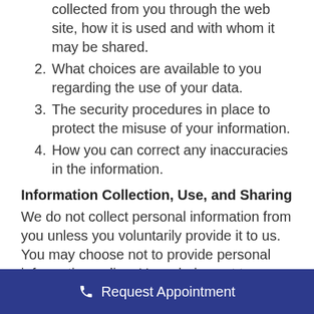collected from you through the web site, how it is used and with whom it may be shared.
2. What choices are available to you regarding the use of your data.
3. The security procedures in place to protect the misuse of your information.
4. How you can correct any inaccuracies in the information.
Information Collection, Use, and Sharing
We do not collect personal information from you unless you voluntarily provide it to us. You may choose not to provide personal information online. Your choice not to participate in this
Request Appointment